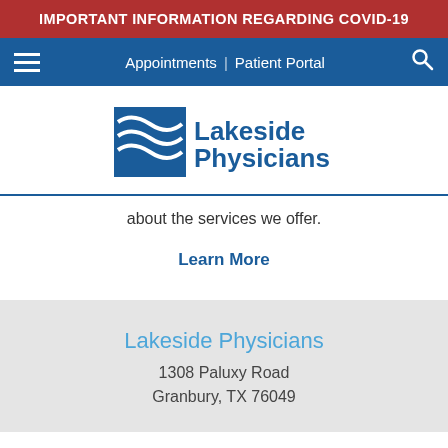IMPORTANT INFORMATION REGARDING COVID-19
Appointments | Patient Portal
[Figure (logo): Lakeside Physicians logo with wave graphic in blue and white]
about the services we offer.
Learn More
Lakeside Physicians
1308 Paluxy Road
Granbury, TX 76049